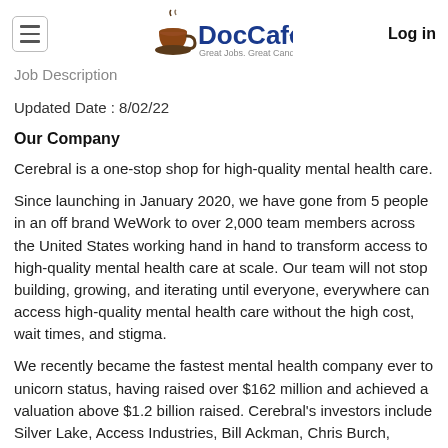DocCafe.com — Great Jobs. Great Candidates. | Log in
Job Description
Updated Date : 8/02/22
Our Company
Cerebral is a one-stop shop for high-quality mental health care.
Since launching in January 2020, we have gone from 5 people in an off brand WeWork to over 2,000 team members across the United States working hand in hand to transform access to high-quality mental health care at scale. Our team will not stop building, growing, and iterating until everyone, everywhere can access high-quality mental health care without the high cost, wait times, and stigma.
We recently became the fastest mental health company ever to unicorn status, having raised over $162 million and achieved a valuation above $1.2 billion raised. Cerebral's investors include Silver Lake, Access Industries, Bill Ackman, Chris Burch, WestCap, and Oak HC/FT.
It is just the beginning for Cerebral, and we need your help as we transform access to high-quality mental health care in the…